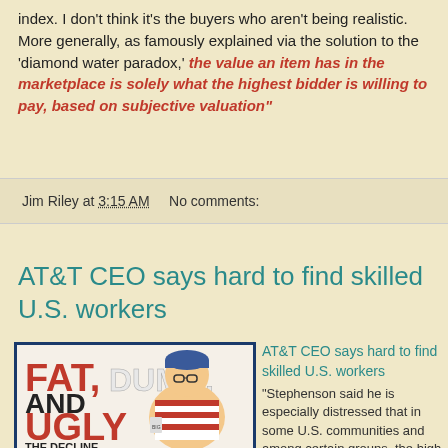index. I don't think it's the buyers who aren't being realistic. More generally, as famously explained via the solution to the 'diamond water paradox,' the value an item has in the marketplace is solely what the highest bidder is willing to pay, based on subjective valuation"
Jim Riley at 3:15 AM    No comments:
AT&T CEO says hard to find skilled U.S. workers
[Figure (illustration): Book cover showing a cartoon of a fat man in a stars-and-stripes shirt with text 'FAT, DUMB, AND UGLY THE DECLINE']
AT&T CEO says hard to find skilled U.S. workers
"Stephenson said he is especially distressed that in some U.S. communities and among certain groups, the high